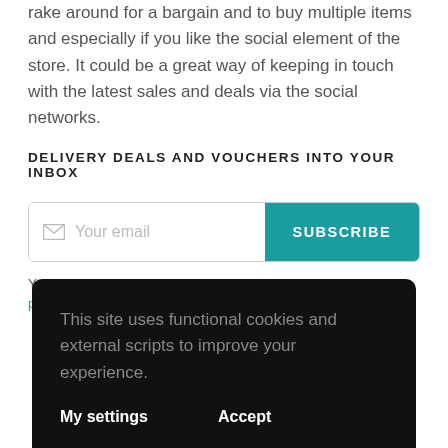rake around for a bargain and to buy multiple items and especially if you like the social element of the store. It could be a great way of keeping in touch with the latest sales and deals via the social networks.
DELIVERY DEALS AND VOUCHERS INTO YOUR INBOX
[Figure (screenshot): Email subscription input field with envelope icon and placeholder text 'Your email', next to a teal 'SUBSCRIBE' button]
You can opt out of our newsletters at any time. See our privacy policy.
This site uses functional cookies and external scripts to improve your experience.
My settings   Accept